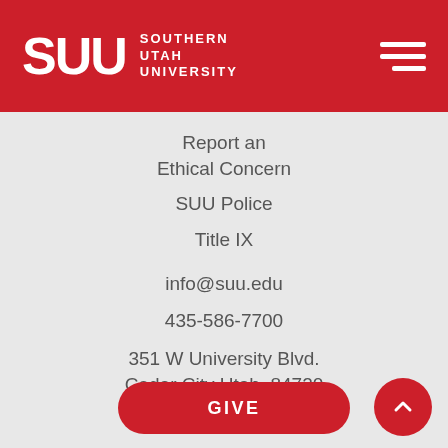Southern Utah University
Report an Ethical Concern
SUU Police
Title IX
info@suu.edu
435-586-7700
351 W University Blvd.
Cedar City Utah, 84720